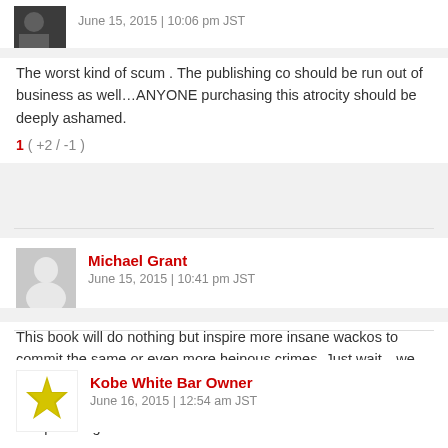[Figure (photo): Small profile photo of a person, partially cropped, dark background]
June 15, 2015 | 10:06 pm JST
The worst kind of scum . The publishing co should be run out of business as well…ANYONE purchasing this atrocity should be deeply ashamed.
1 ( +2 / -1 )
[Figure (illustration): Grey silhouette avatar of a person]
Michael Grant
June 15, 2015 | 10:41 pm JST
This book will do nothing but inspire more insane wackos to commit the same or even more heinous crimes. Just wait…we will soon hear of a copycat killer in the news who specifically references this book. The publisher is a complete DISGRACE for spreading this sickness!
3 ( +3 / -0 )
[Figure (illustration): Yellow/gold decorative star/snowflake avatar icon]
Kobe White Bar Owner
June 16, 2015 | 12:54 am JST